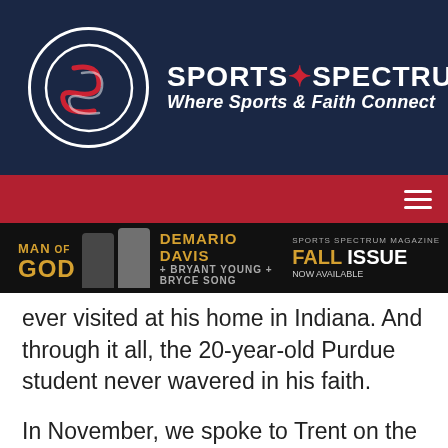[Figure (logo): Sports Spectrum logo with circular emblem and text 'SPORTS SPECTRUM / Where Sports & Faith Connect' on dark navy background]
[Figure (photo): Man of God podcast banner advertisement with DeMario Davis, Bryant Young, and Bryce Song; Sports Spectrum Magazine Fall Issue Now Available]
ever visited at his home in Indiana. And through it all, the 20-year-old Purdue student never wavered in his faith.
In November, we spoke to Trent on the Sports Spectrum Podcast about his faith and how it helped fuel him during his battle with cancer.
“It’s my everything. It’s the cornerstone,” he said. “Every morning, I